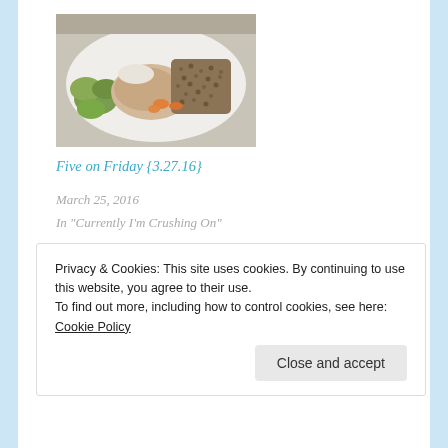[Figure (photo): A white plate with food: a piece of chicken or fish, lentils/grains with carrots, and green vegetables (Brussels sprouts or similar)]
Five on Friday {3.27.16}
March 25, 2016
In "Currently I'm Crushing On"
Posted in: Boston, Five on Friday, What I'm Reading, Workout  |
Tagged: beach lunches, book club, Five on Friday, Friday Favorites,
Privacy & Cookies: This site uses cookies. By continuing to use this website, you agree to their use.
To find out more, including how to control cookies, see here: Cookie Policy
Close and accept